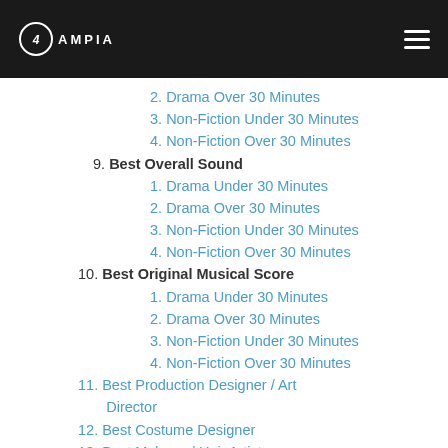AMPIA
2. Drama Over 30 Minutes
3. Non-Fiction Under 30 Minutes
4. Non-Fiction Over 30 Minutes
9. Best Overall Sound
1. Drama Under 30 Minutes
2. Drama Over 30 Minutes
3. Non-Fiction Under 30 Minutes
4. Non-Fiction Over 30 Minutes
10. Best Original Musical Score
1. Drama Under 30 Minutes
2. Drama Over 30 Minutes
3. Non-Fiction Under 30 Minutes
4. Non-Fiction Over 30 Minutes
11. Best Production Designer / Art Director
12. Best Costume Designer
13. Best Makeup / Hair Artist
14. Best Visual Effects
15. Best Animator / Motion Graphic Artist